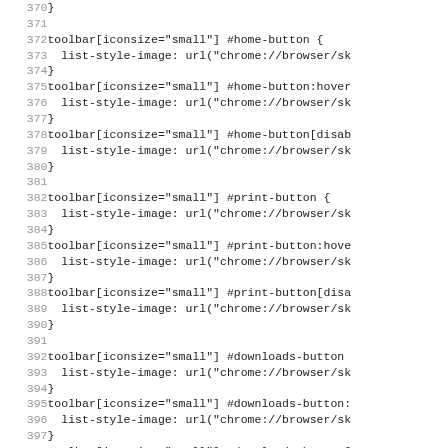Code listing lines 370-402, showing CSS rules for toolbar[iconsize="small"] selectors for #home-button, #print-button, #downloads-button, and #new-tab-button with list-style-image url properties.